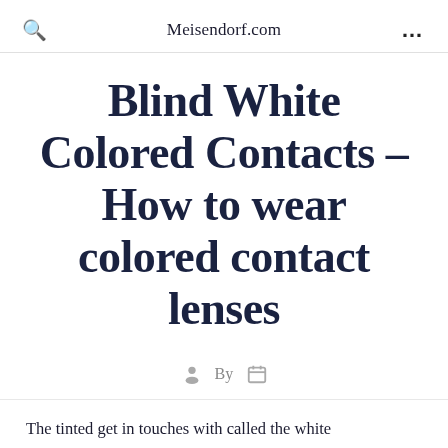Meisendorf.com
Blind White Colored Contacts – How to wear colored contact lenses
By
The tinted get in touches with called the white